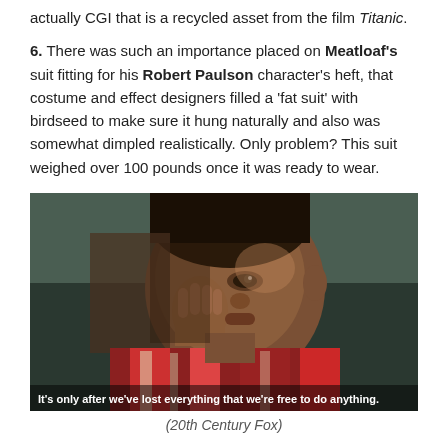actually CGI that is a recycled asset from the film Titanic.
6. There was such an importance placed on Meatloaf's suit fitting for his Robert Paulson character's heft, that costume and effect designers filled a 'fat suit' with birdseed to make sure it hung naturally and also was somewhat dimpled realistically. Only problem? This suit weighed over 100 pounds once it was ready to wear.
[Figure (photo): Movie still from Fight Club showing a young man resting his hand against his face, wearing a colorful patterned shirt. Subtitle reads: It's only after we've lost everything that we're free to do anything.]
(20th Century Fox)
7. The reddish-lens glasses you see Tyler Durden wear